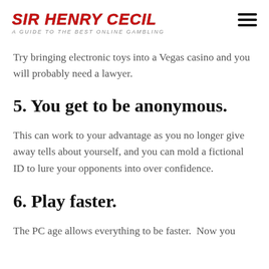SIR HENRY CECIL — A GUIDE TO THE BEST ONLINE GAMBLING
Try bringing electronic toys into a Vegas casino and you will probably need a lawyer.
5. You get to be anonymous.
This can work to your advantage as you no longer give away tells about yourself, and you can mold a fictional ID to lure your opponents into over confidence.
6. Play faster.
The PC age allows everything to be faster.  Now you